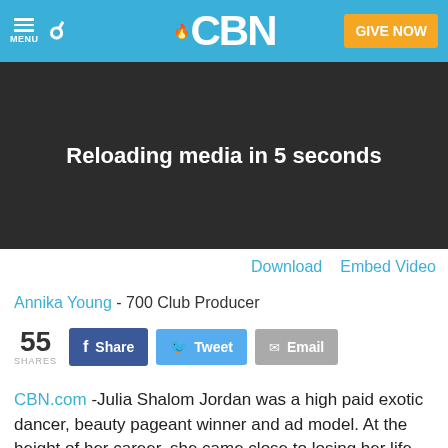CBN — GIVE NOW
[Figure (screenshot): Dark video player area showing 'Reloading media in 5 seconds' message]
Download   Embed Video
Annika Young - 700 Club Producer
55 SHARES  Share  Tweet  Email
CBN.com -Julia Shalom Jordan was a high paid exotic dancer, beauty pageant winner and ad model. At the height of her career, she came close to losing her life while battling the evil that took possession of her mind